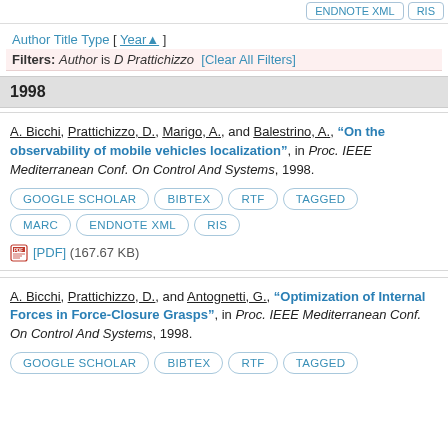ENDNOTE XML   RIS
Author Title Type [ Year▲ ]
Filters: Author is D Prattichizzo  [Clear All Filters]
1998
A. Bicchi, Prattichizzo, D., Marigo, A., and Balestrino, A., "On the observability of mobile vehicles localization", in Proc. IEEE Mediterranean Conf. On Control And Systems, 1998.
GOOGLE SCHOLAR   BIBTEX   RTF   TAGGED   MARC   ENDNOTE XML   RIS
[PDF] (167.67 KB)
A. Bicchi, Prattichizzo, D., and Antognetti, G., "Optimization of Internal Forces in Force-Closure Grasps", in Proc. IEEE Mediterranean Conf. On Control And Systems, 1998.
GOOGLE SCHOLAR   BIBTEX   RTF   TAGGED